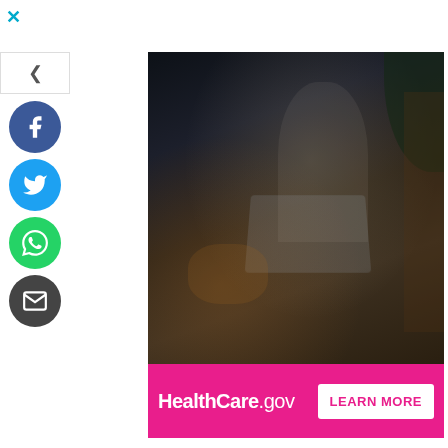[Figure (screenshot): Close (X) button in top left corner, cyan color]
[Figure (photo): Advertisement banner for HealthCare.gov showing a woman working on a laptop with a dog nearby, dark background]
[Figure (infographic): HealthCare.gov pink ad bar with LEARN MORE button]
[Figure (logo): Social sharing sidebar with Facebook, Twitter, WhatsApp, and Email circular buttons, plus chevron toggle]
uisiana 💬1  Acting,  Extras  Movie  Movie Extras
Leave a Casting Response